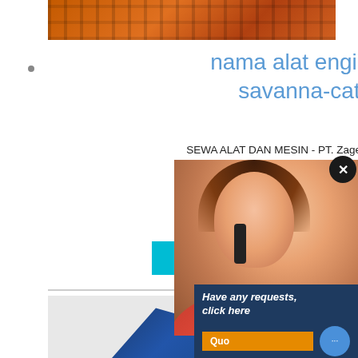[Figure (photo): Orange industrial machinery parts viewed from above]
nama alat enginer mesin - savanna-catering.de
SEWA ALAT DAN MESIN - PT. Zageotech Engineering Indonesia. SEWA ALAT DAN MESIN DAFTAR ALAT DAN MESIN dan Mesin Kondisi / Tahun Jumlah 1. Mesin Bored Merk CHTC Baik / 2012 1 2. Mesin Bored Pile Type
CHAT ONLINE
[Figure (photo): Blue and black industrial machine parts/components]
[Figure (photo): Customer service woman with headset smiling]
Have any requests, click here
Quo
Enquiry
limingjlmofen@sina.com